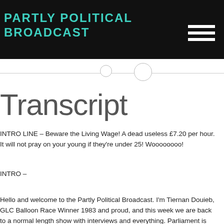PARTLY POLITICAL BROADCAST
Transcript
INTRO LINE – Beware the Living Wage! A dead useless £7.20 per hour. It will not pray on your young if they're under 25! Woooooooo!
INTRO –
Hello and welcome to the Partly Political Broadcast. I'm Tiernan Douieb, GLC Balloon Race Winner 1983 and proud, and this week we are back to a normal length show with interviews and everything. Parliament is